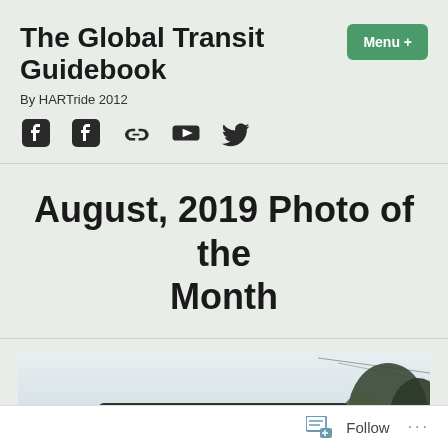The Global Transit Guidebook
By HARTride 2012
[Figure (infographic): Social media icons: Facebook, Facebook, link, YouTube, Twitter]
Menu +
August, 2019 Photo of the Month
[Figure (photo): A dark-colored bus with the destination sign reading '75 TYRONE MALL' in amber/orange letters, photographed from the front at dusk with trees visible in the background against a light sky.]
Follow ...